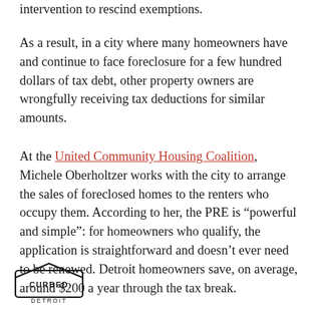intervention to rescind exemptions.
As a result, in a city where many homeowners have and continue to face foreclosure for a few hundred dollars of tax debt, other property owners are wrongfully receiving tax deductions for similar amounts.
At the United Community Housing Coalition, Michele Oberholtzer works with the city to arrange the sales of foreclosed homes to the renters who occupy them. According to her, the PRE is “powerful and simple”: for homeowners who qualify, the application is straightforward and doesn’t ever need to be renewed. Detroit homeowners save, on average, around $200 a year through the tax break.
CURBED DETROIT